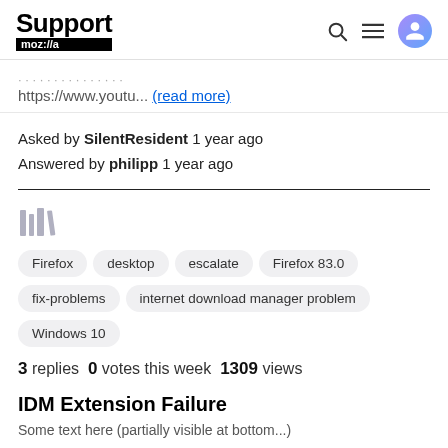Support mozilla // a
https://www.youtu... (read more)
Asked by SilentResident 1 year ago
Answered by philipp 1 year ago
[Figure (illustration): Library/bookmark icon in gray]
Firefox
desktop
escalate
Firefox 83.0
fix-problems
internet download manager problem
Windows 10
3 replies  0 votes this week  1309 views
IDM Extension Failure